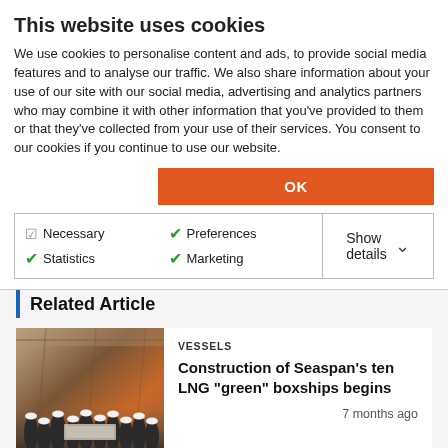This website uses cookies
We use cookies to personalise content and ads, to provide social media features and to analyse our traffic. We also share information about your use of our site with our social media, advertising and analytics partners who may combine it with other information that you've provided to them or that they've collected from your use of their services. You consent to our cookies if you continue to use our website.
OK
Necessary  Preferences  Statistics  Marketing  Show details
Related Article
[Figure (photo): Group of people in hard hats and work uniforms standing in an industrial shipyard or factory setting]
VESSELS
Construction of Seaspan’s ten LNG “green” boxships begins
7 months ago
In a separate statement, Seaspan said it entered